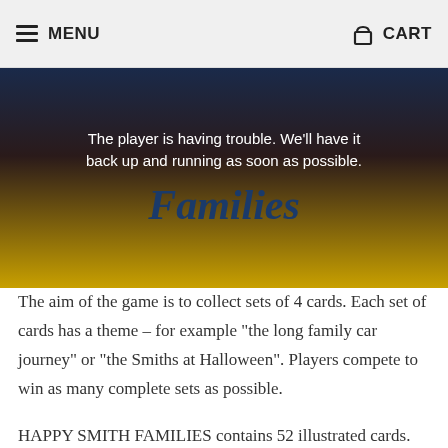MENU  CART
[Figure (screenshot): A game video player placeholder showing error text 'The player is having trouble. We’ll have it back up and running as soon as possible.' overlaid on a dark background with the word 'Families' in large styled text below, with yellow/gold coloring at the bottom.]
The aim of the game is to collect sets of 4 cards. Each set of cards has a theme – for example “the long family car journey” or “the Smiths at Halloween”. Players compete to win as many complete sets as possible.
HAPPY SMITH FAMILIES contains 52 illustrated cards. The cards are beautifully drawn and packed full of playful mischief. The illustrations capture the essence of family life: From downright embarrassing parents to sulky teenagers, pranksters and